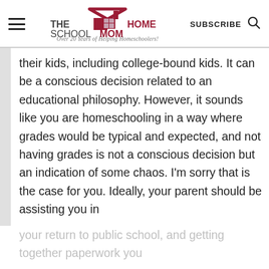THE HOMESCHOOL MOM – Over 20 Years of Helping Homeschoolers! | SUBSCRIBE
their kids, including college-bound kids. It can be a conscious decision related to an educational philosophy. However, it sounds like you are homeschooling in a way where grades would be typical and expected, and not having grades is not a conscious decision but an indication of some chaos. I'm sorry that is the case for you. Ideally, your parent should be assisting you in your return to public school, and getting together paperwork you